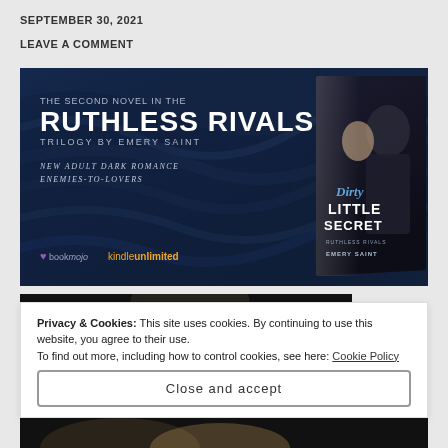SEPTEMBER 30, 2021
LEAVE A COMMENT
[Figure (illustration): Book promotional banner for 'Dirty Little Secret' by Emery Saint — The Second Novel in the Ruthless Rivals Trilogy. Dark blue silk background with book cover image on right. Text: NEW ADULT DARK ROMANCE, ENEMIES-TO-LOVERS. Logos: bookmojo, Kindle Unlimited.]
[Figure (photo): Dark partial photo of a person (character 'Dillon') with dark background]
Dillon
Privacy & Cookies: This site uses cookies. By continuing to use this website, you agree to their use.
To find out more, including how to control cookies, see here: Cookie Policy
Close and accept
[Figure (photo): Bottom partial photo strip showing a person with blonde hair]